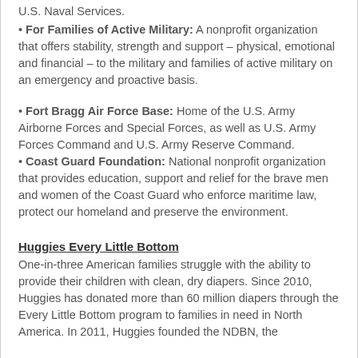U.S. Naval Services.
For Families of Active Military: A nonprofit organization that offers stability, strength and support – physical, emotional and financial – to the military and families of active military on an emergency and proactive basis.
Fort Bragg Air Force Base: Home of the U.S. Army Airborne Forces and Special Forces, as well as U.S. Army Forces Command and U.S. Army Reserve Command.
Coast Guard Foundation: National nonprofit organization that provides education, support and relief for the brave men and women of the Coast Guard who enforce maritime law, protect our homeland and preserve the environment.
Huggies Every Little Bottom
One-in-three American families struggle with the ability to provide their children with clean, dry diapers. Since 2010, Huggies has donated more than 60 million diapers through the Every Little Bottom program to families in need in North America. In 2011, Huggies founded the NDBN, the